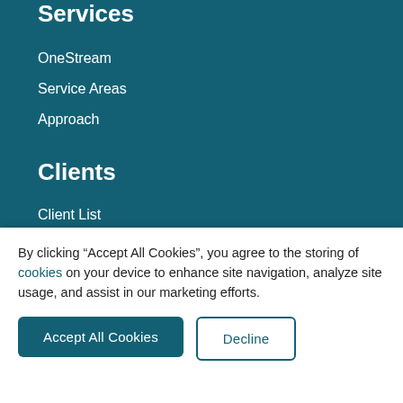Services
OneStream
Service Areas
Approach
Clients
Client List
Success Stories
Client Testimonials
About
By clicking “Accept All Cookies”, you agree to the storing of cookies on your device to enhance site navigation, analyze site usage, and assist in our marketing efforts.
Accept All Cookies | Decline